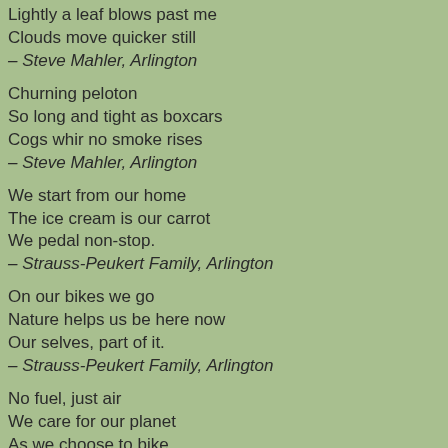Lightly a leaf blows past me
Clouds move quicker still
– Steve Mahler, Arlington
Churning peloton
So long and tight as boxcars
Cogs whir no smoke rises
– Steve Mahler, Arlington
We start from our home
The ice cream is our carrot
We pedal non-stop.
– Strauss-Peukert Family, Arlington
On our bikes we go
Nature helps us be here now
Our selves, part of it.
– Strauss-Peukert Family, Arlington
No fuel, just air
We care for our planet
As we choose to bike
– Strauss-Peukert Family, Arlington